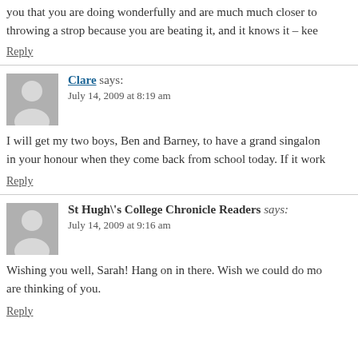you that you are doing wonderfully and are much much closer to throwing a strop because you are beating it, and it knows it – kee
Reply
Clare says: July 14, 2009 at 8:19 am
I will get my two boys, Ben and Barney, to have a grand singalon in your honour when they come back from school today. If it work
Reply
St Hugh\'s College Chronicle Readers says: July 14, 2009 at 9:16 am
Wishing you well, Sarah! Hang on in there. Wish we could do mo are thinking of you.
Reply